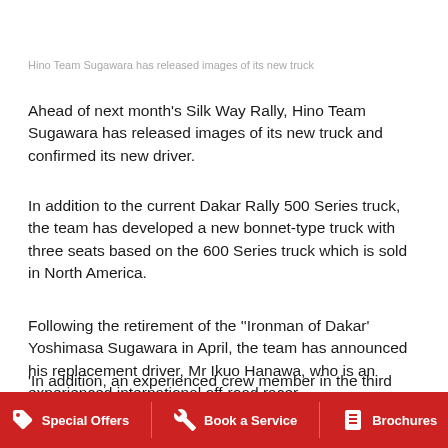Hino Team Sugawara has released images of its new truck
Ahead of next month's Silk Way Rally, Hino Team Sugawara has released images of its new truck and confirmed its new driver.
In addition to the current Dakar Rally 500 Series truck, the team has developed a new bonnet-type truck with three seats based on the 600 Series truck which is sold in North America.
Following the retirement of the ''Ironman of Dakar' Yoshimasa Sugawara in April, the team has announced his replacement driver, Mr Ikuo Hanawa, who is an experienced international off-road racer.
'In addition, an experienced crew member in the third seat will increase the team's ability to cope with any problems encountered during the rally,' said Mr Dimitri Andreatidis, Hino Australia's Head of Corporate and Brand...
Special Offers   Book a Service   Brochures